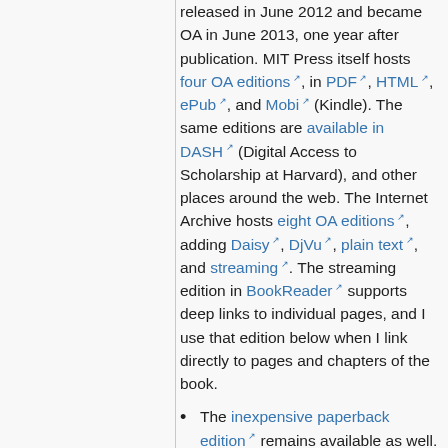released in June 2012 and became OA in June 2013, one year after publication. MIT Press itself hosts four OA editions, in PDF, HTML, ePub, and Mobi (Kindle). The same editions are available in DASH (Digital Access to Scholarship at Harvard), and other places around the web. The Internet Archive hosts eight OA editions, adding Daisy, DjVu, plain text, and streaming. The streaming edition in BookReader supports deep links to individual pages, and I use that edition below when I link directly to pages and chapters of the book.
The inexpensive paperback edition remains available as well.
See my other writings on OA.